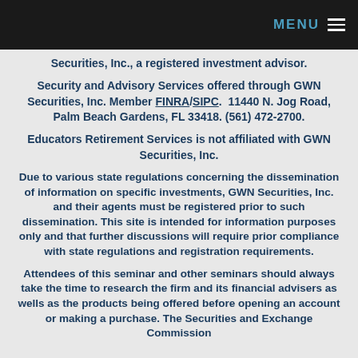MENU
Securities, Inc., a registered investment advisor.
Security and Advisory Services offered through GWN Securities, Inc. Member FINRA/SIPC.  11440 N. Jog Road, Palm Beach Gardens, FL 33418. (561) 472-2700.
Educators Retirement Services is not affiliated with GWN Securities, Inc.
Due to various state regulations concerning the dissemination of information on specific investments, GWN Securities, Inc. and their agents must be registered prior to such dissemination. This site is intended for information purposes only and that further discussions will require prior compliance with state regulations and registration requirements.
Attendees of this seminar and other seminars should always take the time to research the firm and its financial advisers as wells as the products being offered before opening an account or making a purchase. The Securities and Exchange Commission